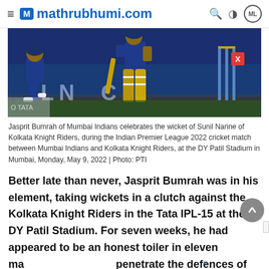mathrubhumi.com
[Figure (photo): Jasprit Bumrah of Mumbai Indians celebrating a wicket during IPL 2022 match against Kolkata Knight Riders at DY Patil Stadium. Players in blue jerseys visible, cricket stumps on right, with a red X close button overlay.]
Jasprit Bumrah of Mumbai Indians celebrates the wicket of Sunil Narine of Kolkata Knight Riders, during the Indian Premier League 2022 cricket match between Mumbai Indians and Kolkata Knight Riders, at the DY Patil Stadium in Mumbai, Monday, May 9, 2022 | Photo: PTI
Better late than never, Jasprit Bumrah was in his element, taking wickets in a clutch against the Kolkata Knight Riders in the Tata IPL-15 at the DY Patil Stadium. For seven weeks, he had appeared to be an honest toiler in eleven matches, not able to penetrate the defences of batters and overcome fast bowlers along...